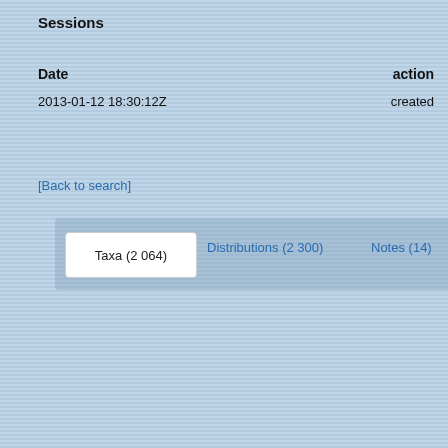Sessions
| Date | action |
| --- | --- |
| 2013-01-12 18:30:12Z | created |
[Back to search]
Taxa (2 064)  Distributions (2 300)  Notes (14)